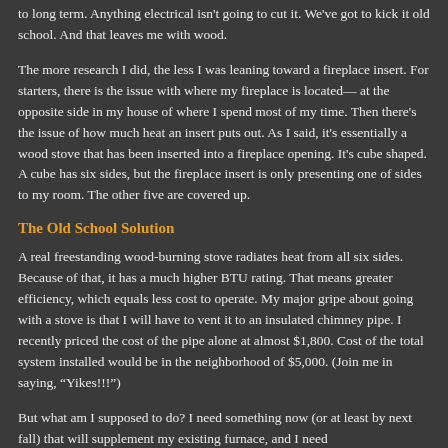to long term. Anything electrical isn't going to cut it. We've got to kick it old school. And that leaves me with wood.
The more research I did, the less I was leaning toward a fireplace insert. For starters, there is the issue with where my fireplace is located— at the opposite side in my house of where I spend most of my time. Then there's the issue of how much heat an insert puts out. As I said, it's essentially a wood stove that has been inserted into a fireplace opening. It's cube shaped. A cube has six sides, but the fireplace insert is only presenting one of sides to my room. The other five are covered up.
The Old School Solution
A real freestanding wood-burning stove radiates heat from all six sides. Because of that, it has a much higher BTU rating. That means greater efficiency, which equals less cost to operate. My major gripe about going with a stove is that I will have to vent it to an insulated chimney pipe. I recently priced the cost of the pipe alone at almost $1,800. Cost of the total system installed would be in the neighborhood of $5,000. (Join me in saying, “Yikes!!!”)
But what am I supposed to do? I need something now (or at least by next fall) that will supplement my existing furnace, and I need